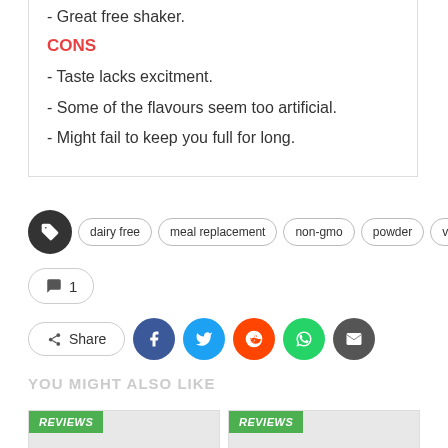CONS
- Taste lacks excitment.
- Some of the flavours seem too artificial.
- Might fail to keep you full for long.
Tags: dairy free, meal replacement, non-gmo, powder, vegan
1 comment
Share
YOU MIGHT ALSO LIKE
[Figure (other): Two review cards side by side with green REVIEWS badges]